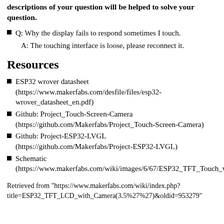descriptions of your question will be helped to solve your question.
Q: Why the display fails to respond sometimes I touch.
A: The touching interface is loose, please reconnect it.
Resources
ESP32 wrover datasheet (https://www.makerfabs.com/desfile/files/esp32-wrover_datasheet_en.pdf)
Github: Project_Touch-Screen-Camera (https://github.com/Makerfabs/Project_Touch-Screen-Camera)
Github: Project-ESP32-LVGL (https://github.com/Makerfabs/Project-ESP32-LVGL)
Schematic (https://www.makerfabs.com/wiki/images/6/67/ESP32_TFT_Touch_with_camera%283.5%27%27_ili9488%29_sch.pdf)
Retrieved from "https://www.makerfabs.com/wiki/index.php?title=ESP32_TFT_LCD_with_Camera(3.5%27%27)&oldid=953279"